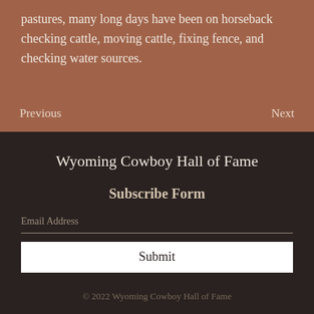pastures, many long days have been on horseback checking cattle, moving cattle, fixing fence, and checking water sources.
Previous
Next
Wyoming Cowboy Hall of Fame
Subscribe Form
Email Address
Submit
© 2022 Wyoming Cowboy Hall of Fame